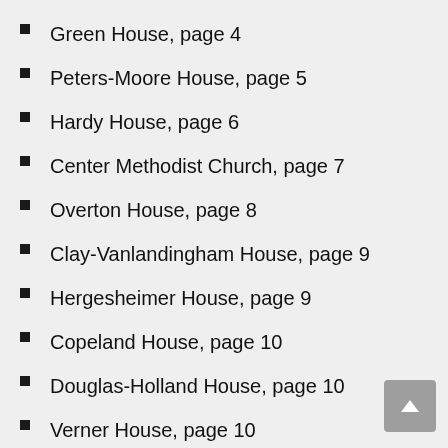Green House, page 4
Peters-Moore House, page 5
Hardy House, page 6
Center Methodist Church, page 7
Overton House, page 8
Clay-Vanlandingham House, page 9
Hergesheimer House, page 9
Copeland House, page 10
Douglas-Holland House, page 10
Verner House, page 10
Judd House, page 11